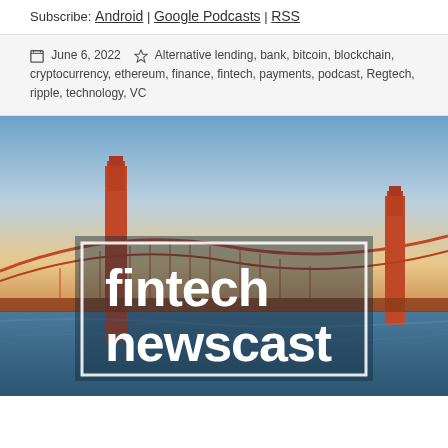Subscribe: Android | Google Podcasts | RSS
June 6, 2022   Alternative lending, bank, bitcoin, blockchain, cryptocurrency, ethereum, finance, fintech, payments, podcast, Regtech, ripple, technology, VC
[Figure (photo): Photo of the Golden Gate Bridge at dusk/sunset with a 'fintech newscast' logo overlay in white text inside a rectangular border]